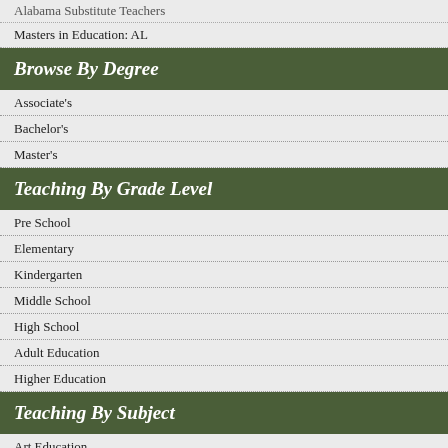Alabama Substitute Teachers
Masters in Education: AL
Browse By Degree
Associate's
Bachelor's
Master's
Teaching By Grade Level
Pre School
Elementary
Kindergarten
Middle School
High School
Adult Education
Higher Education
Teaching By Subject
Art Education